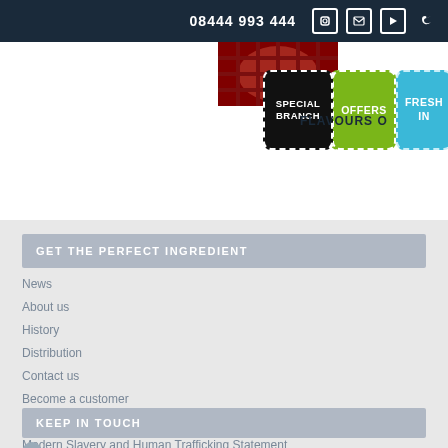08444 993 444
[Figure (screenshot): Navigation buttons: OFFERS (green), SPECIAL BRANCH (black), FRESH IN (blue) with dashed white borders]
FLAVOURS O
GET THE PERFECT INGREDIENT
News
About us
History
Distribution
Contact us
Become a customer
Our Accreditations
Modern Slavery and Human Trafficking Statement
KEEP IN TOUCH